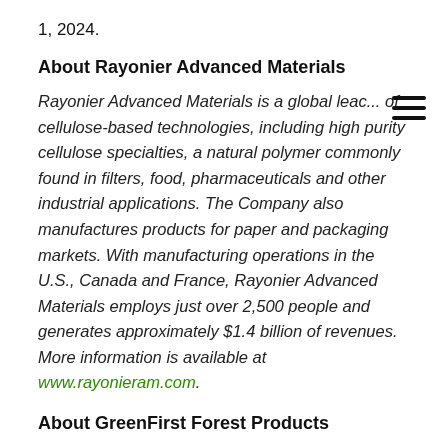1, 2024.
About Rayonier Advanced Materials
Rayonier Advanced Materials is a global leader of cellulose-based technologies, including high purity cellulose specialties, a natural polymer commonly found in filters, food, pharmaceuticals and other industrial applications. The Company also manufactures products for paper and packaging markets. With manufacturing operations in the U.S., Canada and France, Rayonier Advanced Materials employs just over 2,500 people and generates approximately $1.4 billion of revenues. More information is available at www.rayonieram.com.
About GreenFirst Forest Products